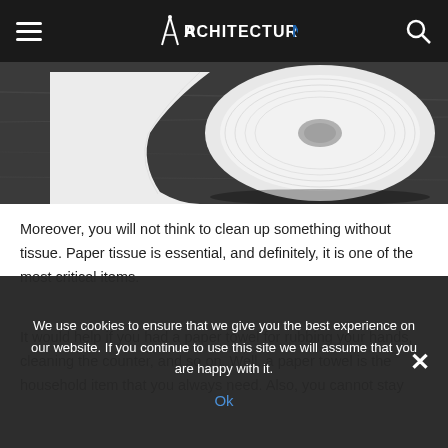≡  ARCHITECTURES NB  🔍
[Figure (photo): A white paper towel roll on a dark wooden surface, viewed from an angle showing the rolled paper texture]
Moreover, you will not think to clean up something without tissue. Paper tissue is essential, and definitely, it is one of the most critical items.
It would help if you had a paper towel for rubbing your hands, cleaning the counter, and so on. Well, a paper towel is the household item that you always need. Also, you cannot stay
We use cookies to ensure that we give you the best experience on our website. If you continue to use this site we will assume that you are happy with it.
Ok